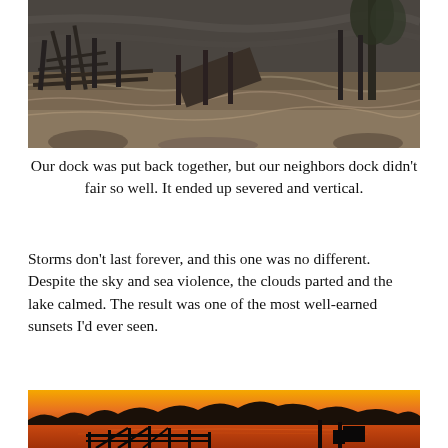[Figure (photo): A storm-damaged dock area with turbulent gray-brown floodwater, wooden dock structures partially submerged and knocked askew, with a tree visible on the right side.]
Our dock was put back together, but our neighbors dock didn't fair so well. It ended up severed and vertical.
Storms don't last forever, and this one was no different. Despite the sky and sea violence, the clouds parted and the lake calmed. The result was one of the most well-earned sunsets I'd ever seen.
[Figure (photo): A warm orange and amber sunset over a calm lake, with silhouettes of trees on the far shore and a damaged dock structure in the foreground reflected in the golden water.]